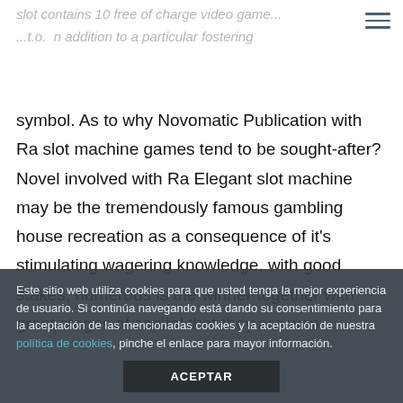slot contains 10 free of charge video game...
...t.o. n addition to a particular fostering symbol. As to why Novomatic Publication with Ra slot machine games tend to be sought-after? Novel involved with Ra Elegant slot machine may be the tremendously famous gambling house recreation as a consequence of it's stimulating wagering knowledge, with good stakes, numerous is the winner together with great stages of capital that they are won.
Este sitio web utiliza cookies para que usted tenga la mejor experiencia de usuario. Si continúa navegando está dando su consentimiento para la aceptación de las mencionadas cookies y la aceptación de nuestra política de cookies, pinche el enlace para mayor información.